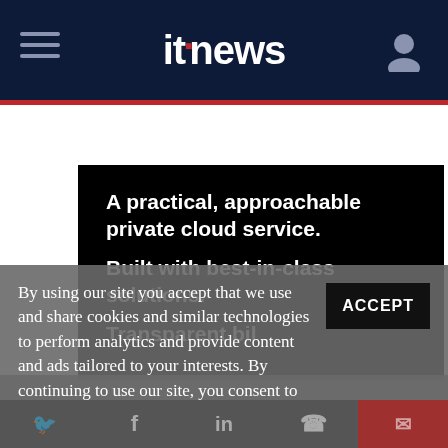itnews
[Figure (screenshot): Advertisement banner area — A practical, approachable private cloud service. Built with best-in-class solutions. Transparent bil]
By using our site you accept that we use and share cookies and similar technologies to perform analytics and provide content and ads tailored to your interests. By continuing to use our site, you consent to this. Please see our Cookie Policy for more information.